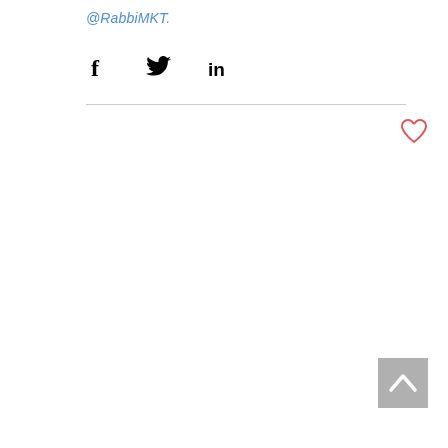@RabbiMKT.
[Figure (infographic): Social share icons: Facebook (f), Twitter (bird), LinkedIn (in)]
[Figure (infographic): Heart (like) icon in red/coral outline, and a back-to-top button (grey square with up chevron)]